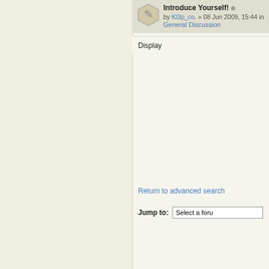Introduce Yourself! by Kl3p_co. » 08 Jun 2009, 15:44 in General Discussion
Display
Return to advanced search
Jump to: Select a forum
Board index   The te
Who is online
In total there are 259 users online :: 5 registered, 0 hidden and 254 guests (based on users active over the past 10 minutes)
Most users ever online was 1922 on 07 Jun 2021, 06:01
Registered users: Bing [Bot], Google [Bot], IsiahDoi, Majestic-12 [Bot], Rosse